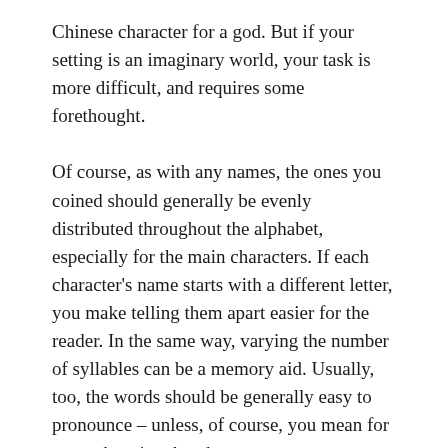Chinese character for a god. But if your setting is an imaginary world, your task is more difficult, and requires some forethought.
Of course, as with any names, the ones you coined should generally be evenly distributed throughout the alphabet, especially for the main characters. If each character's name starts with a different letter, you make telling them apart easier for the reader. In the same way, varying the number of syllables can be a memory aid. Usually, too, the words should be generally easy to pronounce – unless, of course, you mean for one to be a jaw-breaker.
But where do the names come from? Despite the frequent suggestions in online writers' group, I would discourage using Internet name generators. Not only do most of them conform to stock types like dwarves and elfs, but what is good enough for a game may not be suitable for fiction. For